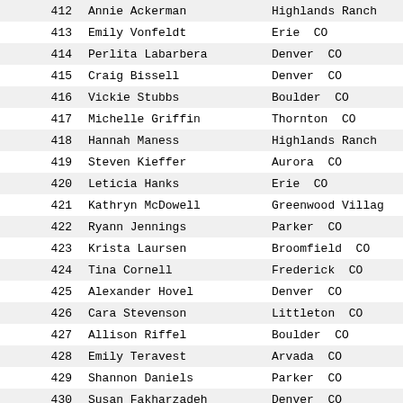| # | Name | Location |
| --- | --- | --- |
| 412 | Annie Ackerman | Highlands Ranch |
| 413 | Emily Vonfeldt | Erie  CO |
| 414 | Perlita Labarbera | Denver  CO |
| 415 | Craig Bissell | Denver  CO |
| 416 | Vickie Stubbs | Boulder  CO |
| 417 | Michelle Griffin | Thornton  CO |
| 418 | Hannah Maness | Highlands Ranch |
| 419 | Steven Kieffer | Aurora  CO |
| 420 | Leticia Hanks | Erie  CO |
| 421 | Kathryn McDowell | Greenwood Village |
| 422 | Ryann Jennings | Parker  CO |
| 423 | Krista Laursen | Broomfield  CO |
| 424 | Tina Cornell | Frederick  CO |
| 425 | Alexander Hovel | Denver  CO |
| 426 | Cara Stevenson | Littleton  CO |
| 427 | Allison Riffel | Boulder  CO |
| 428 | Emily Teravest | Arvada  CO |
| 429 | Shannon Daniels | Parker  CO |
| 430 | Susan Fakharzadeh | Denver  CO |